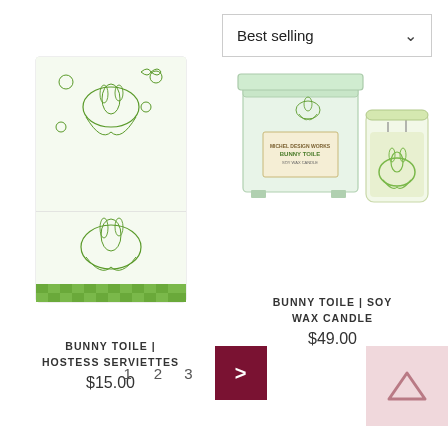[Figure (screenshot): Sort dropdown selector showing 'Best selling' with chevron]
[Figure (photo): Bunny Toile Hostess Serviettes product image - green and white toile pattern napkins with gingham border]
BUNNY TOILE | HOSTESS SERVIETTES
$15.00
[Figure (photo): Bunny Toile Soy Wax Candle product image - boxed candle set with matching glass candle, green toile bunny pattern]
BUNNY TOILE | SOY WAX CANDLE
$49.00
1  2  3  >